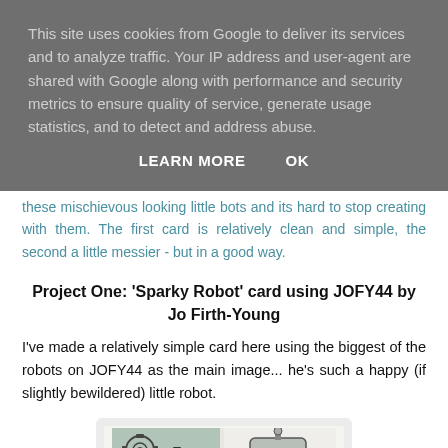This site uses cookies from Google to deliver its services and to analyze traffic. Your IP address and user-agent are shared with Google along with performance and security metrics to ensure quality of service, generate usage statistics, and to detect and address abuse.
LEARN MORE    OK
these mischievous looking little bots and its hard to stop creating with them. The first card is relatively clean and simple, the second a little messier - but in a good way.
Project One: 'Sparky Robot' card using JOFY44 by Jo Firth-Young
I've made a relatively simple card here using the biggest of the robots on JOFY44 as the main image... he's such a happy (if slightly bewildered) little robot.
[Figure (photo): A handmade card featuring robot illustrations from the JOFY44 stamp set. The card shows two robot images side by side on a light background inside a rounded rectangular frame.]